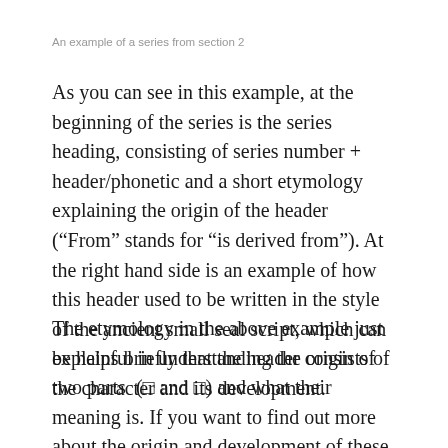An example of a series from section 2
As you can see in this example, at the beginning of the series is the series heading, consisting of series number + header/phonetic and a short etymology explaining the origin of the header (“From” stands for “is derived from”). At the right hand side is an example of how this header used to be written in the style of the ancient small seal script, which can be helpful in understanding the origin of the character and its development.
The etymology in the above example just explains briefly that the header consists of two parts  (□ and □) and what their meaning is. If you want to find out more about the origin and development of these individual characters, you can look them up in the